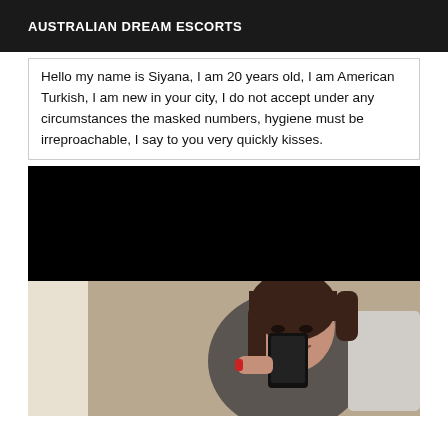AUSTRALIAN DREAM ESCORTS
Hello my name is Siyana, I am 20 years old, I am American Turkish, I am new in your city, I do not accept under any circumstances the masked numbers, hygiene must be irreproachable, I say to you very quickly kisses.
[Figure (photo): Black rectangular image placeholder]
[Figure (photo): Mirror selfie photo of a woman with dark hair holding a phone]